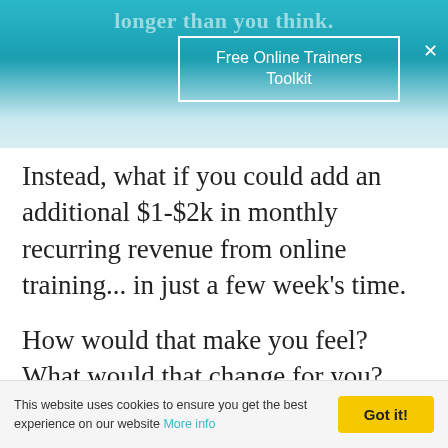longer than you think.
Free Online Trainers Toolkit
Instead, what if you could add an additional $1-$2k in monthly recurring revenue from online training... in just a few week's time.
How would that make you feel? What would that change for you?
That's exactly what Masterclass
This website uses cookies to ensure you get the best experience on our website More info   Got it!